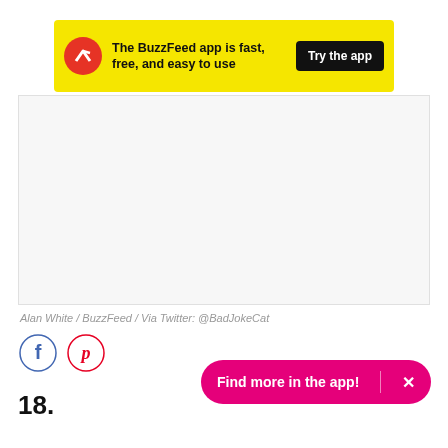[Figure (infographic): BuzzFeed app advertisement banner on yellow background with red circular arrow icon, bold text 'The BuzzFeed app is fast, free, and easy to use', and black 'Try the app' button. A cyan X close button is in the top-right corner.]
[Figure (photo): Large image placeholder with light gray background (image content not visible)]
Alan White / BuzzFeed / Via Twitter: @BadJokeCat
[Figure (infographic): Social sharing icons: Facebook (blue circle with f) and Pinterest (red circle with P)]
18.
[Figure (infographic): Pink pill-shaped CTA button reading 'Find more in the app!' with an X close button on the right separated by a vertical divider]